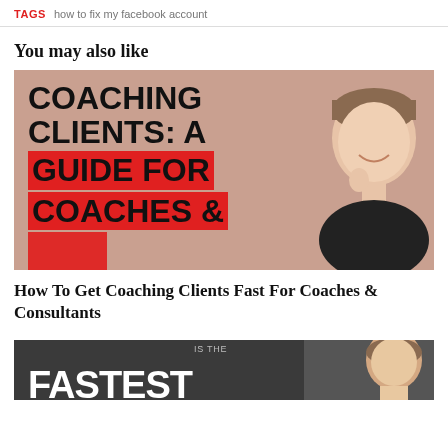TAGS  how to fix my facebook account
You may also like
[Figure (photo): Thumbnail image for article about coaching clients: shows bold text 'COACHING CLIENTS: A GUIDE FOR COACHES &' on a salmon/pink background with a smiling man on the right side. Red banner highlights 'GUIDE FOR COACHES &'.]
How To Get Coaching Clients Fast For Coaches & Consultants
[Figure (photo): Partial thumbnail image on dark grey background showing text 'IS THE' and large bold letters 'FASTEST' starting to appear, with a man visible on the right side.]